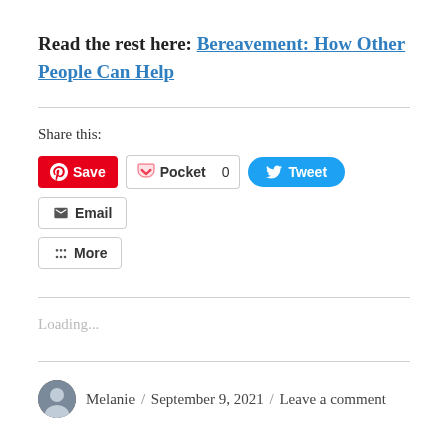Read the rest here: Bereavement: How Other People Can Help
Share this:
[Figure (screenshot): Social share buttons: Pinterest Save, Pocket 0, Tweet, Email, More]
Loading...
Melanie / September 9, 2021 / Leave a comment